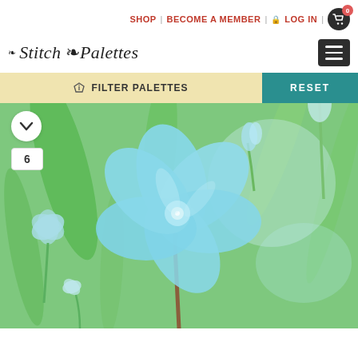SHOP | BECOME A MEMBER | LOG IN | 0
Stitch Palettes
FILTER PALETTES  RESET
[Figure (photo): Close-up photograph of a light blue Scilla flower (star-shaped, 6 petals) on a green stem, surrounded by green leaves and other blue flower buds. A white circular chevron icon and number box showing '6' are overlaid in the upper left corner.]